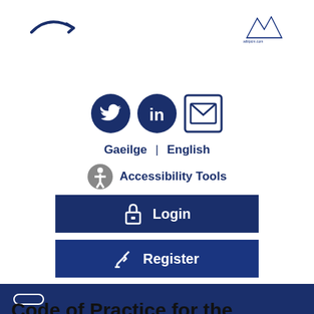[Figure (logo): Blue curved arrow/wave logo on left]
[Figure (logo): Mountain/text logo on right]
[Figure (infographic): Social media icons: Twitter, LinkedIn, Email envelope in dark navy blue]
Gaeilge | English
Accessibility Tools
Login
Register
Navigation bar
Code of Practice for the